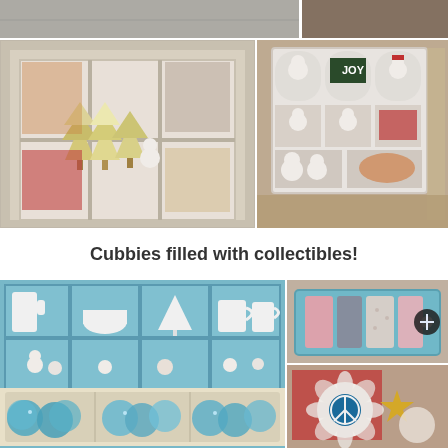[Figure (photo): Top strip of two photos: left shows shelves/collectibles, right shows wooden display items]
[Figure (photo): Left middle photo: white cubby shelf unit with bottle brush trees and snowman figurines]
[Figure (photo): Right middle photo: white shadow box display unit with snowman collectibles and JOY sign in cubbies]
Cubbies filled with collectibles!
[Figure (photo): Bottom left large photo: teal/aqua cubby shelf with white ceramic items on top and tray of teal pom-pom/brush items in foreground]
[Figure (photo): Bottom right top photo: teal tray with folded pink, gray and patterned fabric or textile items]
[Figure (photo): Bottom right bottom photo: decorative fabric rosettes/medallions with peace sign and star embellishments]